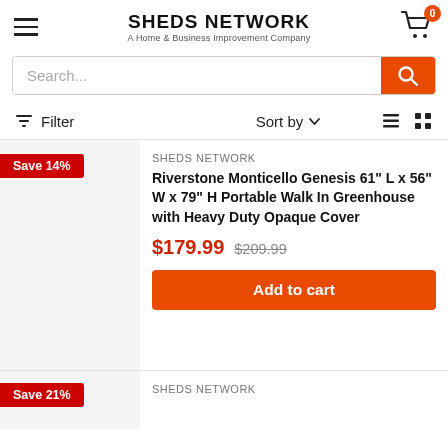SHEDS NETWORK — A Home & Business Improvement Company
Search...
Filter   Sort by   (list/grid view icons)
Save 14%
SHEDS NETWORK
Riverstone Monticello Genesis 61" L x 56" W x 79" H Portable Walk In Greenhouse with Heavy Duty Opaque Cover
$179.99  $209.99
Add to cart
Save 21%
SHEDS NETWORK